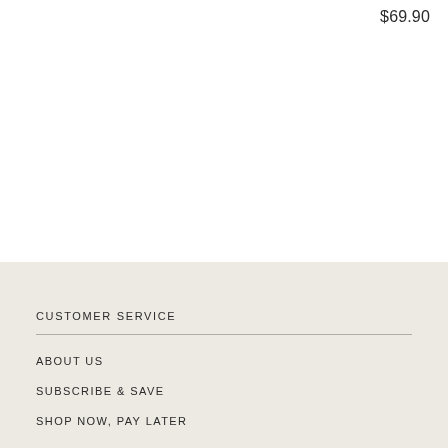$69.90
CUSTOMER SERVICE
ABOUT US
SUBSCRIBE & SAVE
SHOP NOW, PAY LATER